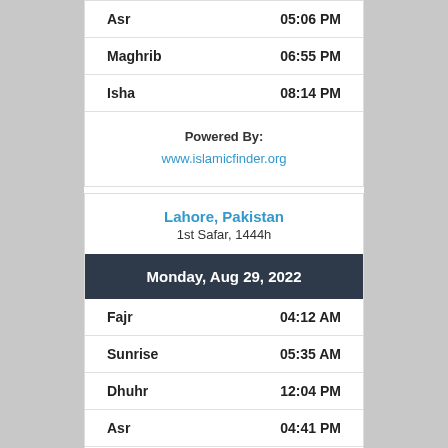| Prayer | Time |
| --- | --- |
| Asr | 05:06 PM |
| Maghrib | 06:55 PM |
| Isha | 08:14 PM |
Powered By: www.islamicfinder.org
Lahore, Pakistan
1st Safar, 1444h
Monday, Aug 29, 2022
| Prayer | Time |
| --- | --- |
| Fajr | 04:12 AM |
| Sunrise | 05:35 AM |
| Dhuhr | 12:04 PM |
| Asr | 04:41 PM |
| Maghrib | 06:32 PM |
| Isha | 07:56 PM |